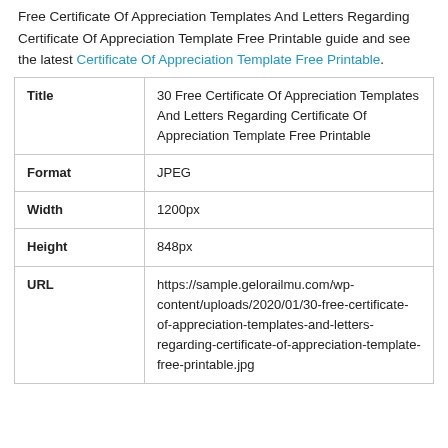Free Certificate Of Appreciation Templates And Letters Regarding Certificate Of Appreciation Template Free Printable guide and see the latest Certificate Of Appreciation Template Free Printable.
|  |  |
| --- | --- |
| Title | 30 Free Certificate Of Appreciation Templates And Letters Regarding Certificate Of Appreciation Template Free Printable |
| Format | JPEG |
| Width | 1200px |
| Height | 848px |
| URL | https://sample.gelorailmu.com/wp-content/uploads/2020/01/30-free-certificate-of-appreciation-templates-and-letters-regarding-certificate-of-appreciation-template-free-printable.jpg |